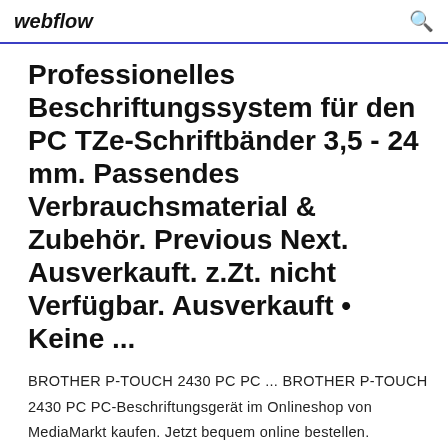webflow
Professionelles Beschriftungssystem für den PC TZe-Schriftbänder 3,5 - 24 mm. Passendes Verbrauchsmaterial & Zubehör. Previous Next. Ausverkauft. z.Zt. nicht Verfügbar. Ausverkauft • Keine ...
BROTHER P-TOUCH 2430 PC PC ... BROTHER P-TOUCH 2430 PC PC-Beschriftungsgerät im Onlineshop von MediaMarkt kaufen. Jetzt bequem online bestellen. BROTHER PT - 2430PC DRIVER DOWNLOAD BROTHER PT - 2430PC DRIVER DOWNLOAD - The software is